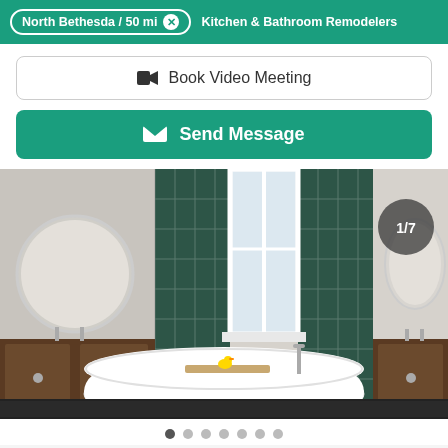North Bethesda / 50 mi   Kitchen & Bathroom Remodelers
Book Video Meeting
Send Message
[Figure (photo): Luxury bathroom remodel featuring a large freestanding white soaking tub, dark green subway tile walls, dual wood vanities with round mirrors, and a small yellow rubber duck on a wooden tub caddy. Photo counter shows 1/7.]
Image carousel dot navigation: 1 of 7